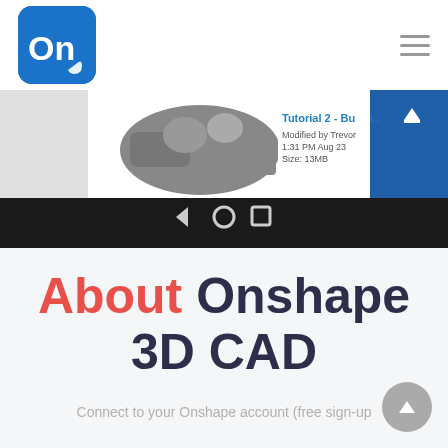[Figure (logo): Onshape logo — white 'On' text on blue rounded square]
[Figure (screenshot): Android phone screenshot showing Onshape app with Tutorial 2 - Build document, modified by Trevor at 1:31 PM Aug 23, with 3D CAD hammer model visible, blue action buttons, and Android navigation bar at bottom]
About Onshape 3D CAD
Connect to your Onshape account (free sign-up required) for access to your designs on your latest M...